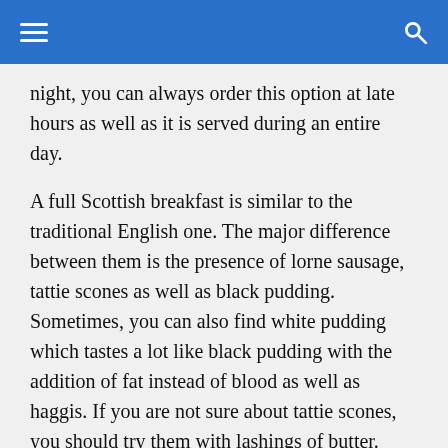Navigation bar with hamburger menu and search icon
night, you can always order this option at late hours as well as it is served during an entire day.
A full Scottish breakfast is similar to the traditional English one. The major difference between them is the presence of lorne sausage, tattie scones as well as black pudding. Sometimes, you can also find white pudding which tastes a lot like black pudding with the addition of fat instead of blood as well as haggis. If you are not sure about tattie scones, you should try them with lashings of butter.
Great ideas for gifts from France >
[Figure (photo): Thumbnail image partially visible at bottom left]